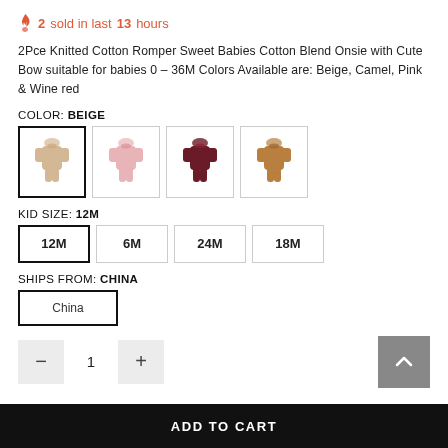2 sold in last 13 hours
2Pce Knitted Cotton Romper Sweet Babies Cotton Blend Onsie with Cute Bow suitable for babies 0 - 36M Colors Available are: Beige, Camel, Pink & Wine red
COLOR: BEIGE
[Figure (illustration): Four color swatches showing baby rompers: beige (selected), pink, wine red, camel]
KID SIZE: 12M
Size options: 12M (selected), 6M, 24M, 18M
SHIPS FROM: CHINA
China (shipping option, selected)
Quantity: 1
ADD TO CART